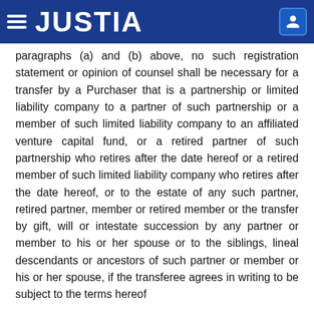JUSTIA
paragraphs (a) and (b) above, no such registration statement or opinion of counsel shall be necessary for a transfer by a Purchaser that is a partnership or limited liability company to a partner of such partnership or a member of such limited liability company to an affiliated venture capital fund, or a retired partner of such partnership who retires after the date hereof or a retired member of such limited liability company who retires after the date hereof, or to the estate of any such partner, retired partner, member or retired member or the transfer by gift, will or intestate succession by any partner or member to his or her spouse or to the siblings, lineal descendants or ancestors of such partner or member or his or her spouse, if the transferee agrees in writing to be subject to the terms hereof